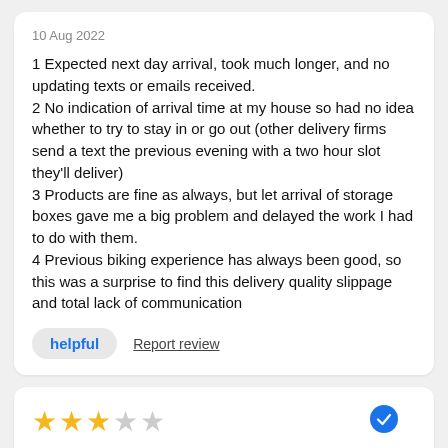10 Aug 2022
1 Expected next day arrival, took much longer, and no updating texts or emails received.
2 No indication of arrival time at my house so had no idea whether to try to stay in or go out (other delivery firms send a text the previous evening with a two hour slot they'll deliver)
3 Products are fine as always, but let arrival of storage boxes gave me a big problem and delayed the work I had to do with them.
4 Previous biking experience has always been good, so this was a surprise to find this delivery quality slippage and total lack of communication
helpful   Report review
[Figure (other): 3 out of 5 stars rating with blue verified checkmark badge]